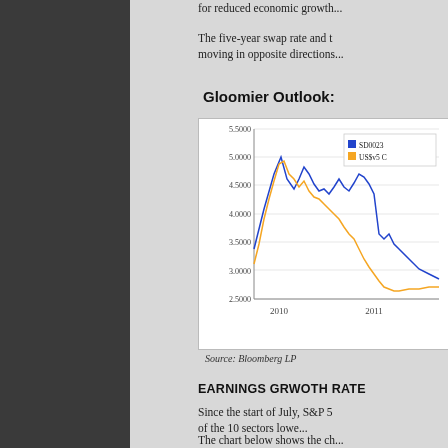for reduced economic growth...
The five-year swap rate and the... moving in opposite directions...
Gloomier Outlook:
[Figure (line-chart): Line chart showing SD0023 (blue) and US$v5 (orange) series from 2010 to 2011, with y-axis from 2.5000 to 5.5000]
Source: Bloomberg LP
EARNINGS GRWOTH RATE
Since the start of July, S&P 5... of the 10 sectors lowe...
The chart below shows the ch... share (a.k.a. "rational future...